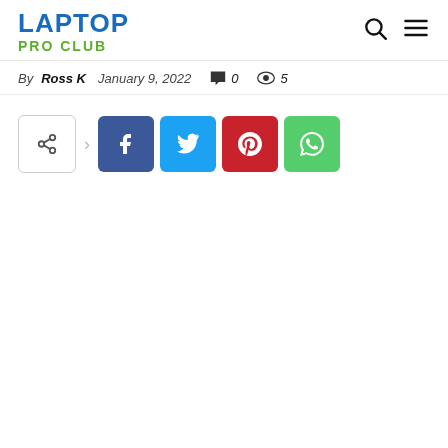LAPTOP PRO CLUB
By Ross K   January 9, 2022   💬 0   👁 5
[Figure (other): Social share buttons: share icon, Facebook, Twitter, Pinterest, WhatsApp]